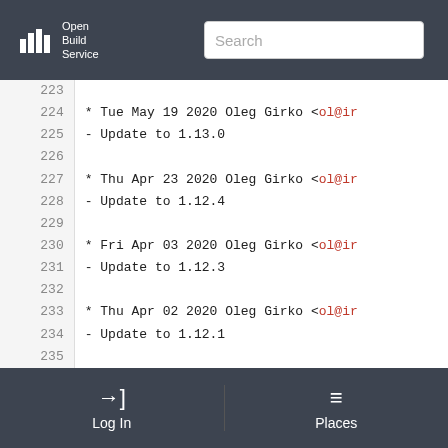Open Build Service — Search
223
224 * Tue May 19 2020 Oleg Girko <ol@ir
225 - Update to 1.13.0
226
227 * Thu Apr 23 2020 Oleg Girko <ol@ir
228 - Update to 1.12.4
229
230 * Fri Apr 03 2020 Oleg Girko <ol@ir
231 - Update to 1.12.3
232
233 * Thu Apr 02 2020 Oleg Girko <ol@ir
234 - Update to 1.12.1
235
236 * Mon Mar 23 2020 Oleg Girko <ol@ir
237 - Update to 1.12.0
238
239 * Tue Mar 03 2020 Oleg Girko <ol@ir
Log In   Places